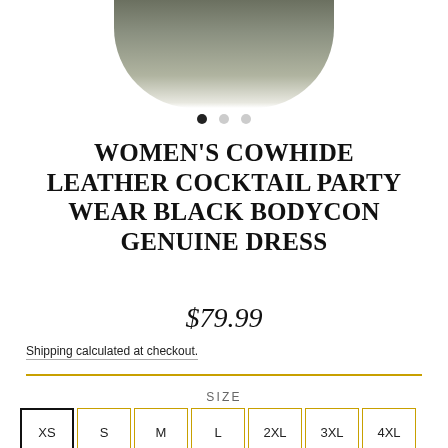[Figure (photo): Partial view of a woman wearing a dark green/black bodycon dress, cropped at mid-torso, with carousel navigation dots below]
WOMEN'S COWHIDE LEATHER COCKTAIL PARTY WEAR BLACK BODYCON GENUINE DRESS
$79.99
Shipping calculated at checkout.
SIZE
XS (selected), S, M, L, 2XL, 3XL, 4XL, XL
COLOR